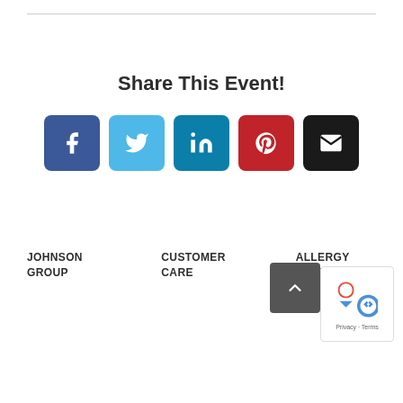Share This Event!
[Figure (infographic): Social sharing buttons: Facebook (blue), Twitter (light blue), LinkedIn (dark blue), Pinterest (red), Email (black)]
JOHNSON GROUP
CUSTOMER CARE
ALLERGY ALLERGY...